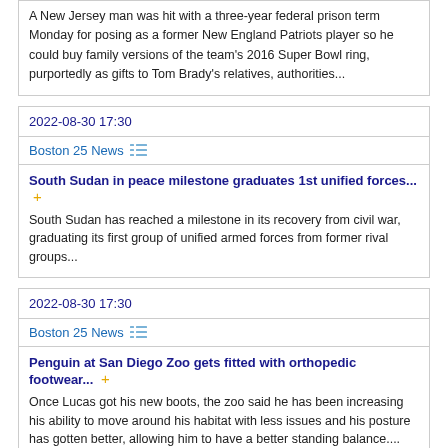A New Jersey man was hit with a three-year federal prison term Monday for posing as a former New England Patriots player so he could buy family versions of the team's 2016 Super Bowl ring, purportedly as gifts to Tom Brady's relatives, authorities...
2022-08-30 17:30
Boston 25 News
South Sudan in peace milestone graduates 1st unified forces...
South Sudan has reached a milestone in its recovery from civil war, graduating its first group of unified armed forces from former rival groups...
2022-08-30 17:30
Boston 25 News
Penguin at San Diego Zoo gets fitted with orthopedic footwear...
Once Lucas got his new boots, the zoo said he has been increasing his ability to move around his habitat with less issues and his posture has gotten better, allowing him to have a better standing balance....